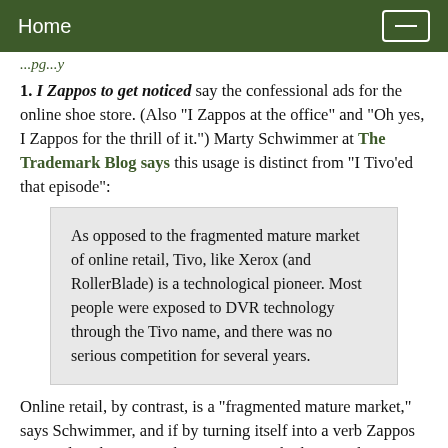Home
...pg...y
1. I Zappos to get noticed say the confessional ads for the online shoe store. (Also "I Zappos at the office" and "Oh yes, I Zappos for the thrill of it.") Marty Schwimmer at The Trademark Blog says this usage is distinct from "I Tivo'ed that episode":
As opposed to the fragmented mature market of online retail, Tivo, like Xerox (and RollerBlade) is a technological pioneer. Most people were exposed to DVR technology through the Tivo name, and there was no serious competition for several years.
Online retail, by contrast, is a "fragmented mature market," says Schwimmer, and if by turning itself into a verb Zappos succeeds in becoming the generic term by buying shoes online, "then the marketing director will get a promotion." Conclusion: Bravo, Z...